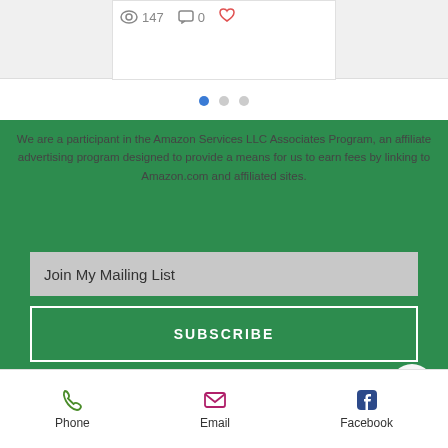[Figure (screenshot): Top section showing a content card with eye icon (147 views), chat icon (0 comments), and heart icon]
[Figure (infographic): Three pagination dots, first dot filled/active]
We are a participant in the Amazon Services LLC Associates Program, an affiliate advertising program designed to provide a means for us to earn fees by linking to Amazon.com and affiliated sites.
Join My Mailing List
SUBSCRIBE
[Figure (infographic): Social media icons row: Instagram, YouTube, Twitter, Facebook]
Modern P...LLC
© Copyright
All Rights Reserved
Private Policy
Phone   Email   Facebook